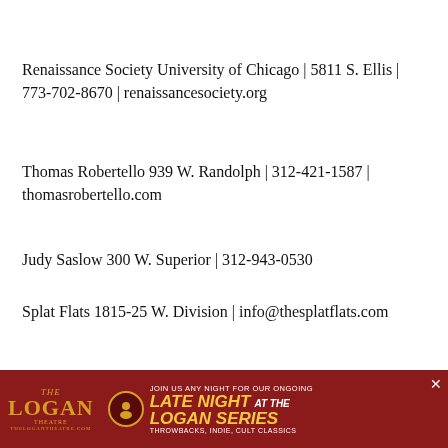Renaissance Society University of Chicago | 5811 S. Ellis | 773-702-8670 | renaissancesociety.org
Thomas Robertello 939 W. Randolph | 312-421-1587 | thomasrobertello.com
Judy Saslow 300 W. Superior | 312-943-0530
Splat Flats 1815-25 W. Division | info@thesplatflats.com
Steelelife 4655 S. King | 773-538-4773
[Figure (other): Advertisement banner for The Logan Theatre: 'Join us any night for our ongoing Late Night at the Logan Series — Throwbacks, Indie, Cult Classics' on dark red background with gold text.]